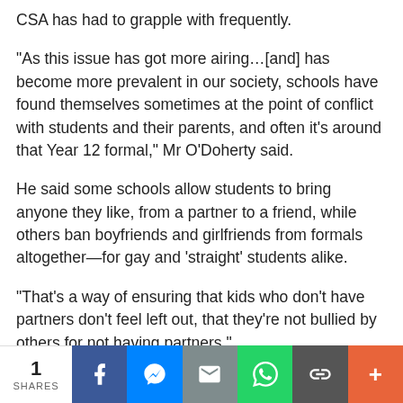CSA has had to grapple with frequently.
“As this issue has got more airing…[and] has become more prevalent in our society, schools have found themselves sometimes at the point of conflict with students and their parents, and often it’s around that Year 12 formal,” Mr O’Doherty said.
He said some schools allow students to bring anyone they like, from a partner to a friend, while others ban boyfriends and girlfriends from formals altogether—for gay and ‘straight’ students alike.
“That’s a way of ensuring that kids who don’t have partners don’t feel left out, that they’re not bullied by others for not having partners.”